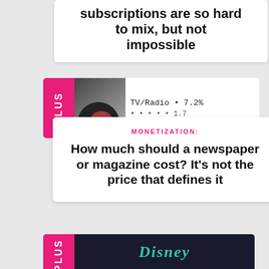subscriptions are so hard to mix, but not impossible
[Figure (illustration): Card with PLUS tab and partial chart showing TV/Radio 7.2% label]
MONETIZATION:
How much should a newspaper or magazine cost? It's not the price that defines it
[Figure (illustration): Partial card with PLUS tab and Disney logo on dark background]